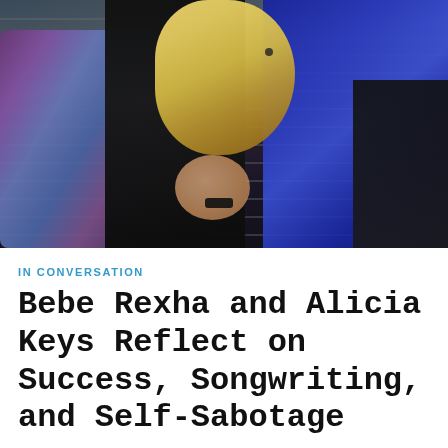[Figure (photo): Two women sitting together in front of a metal shutter/garage door. One wears a colorful kimono-style garment with purple and blue patterns over black clothing; the other wears a blue velvet top and black jacket with long blonde hair. They are posed together, one leaning on the other.]
IN CONVERSATION
Bebe Rexha and Alicia Keys Reflect on Success, Songwriting, and Self-Sabotage